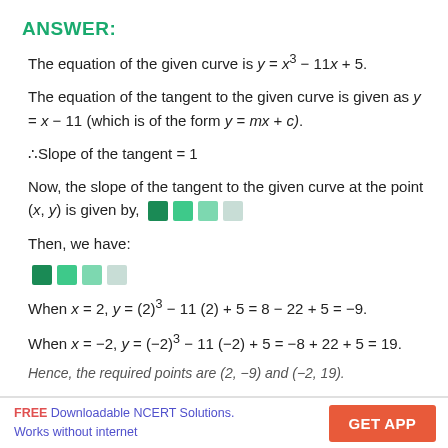ANSWER:
The equation of the given curve is y = x³ − 11x + 5.
The equation of the tangent to the given curve is given as y = x − 11 (which is of the form y = mx + c).
∴Slope of the tangent = 1
Now, the slope of the tangent to the given curve at the point (x, y) is given by, [colored squares representing formula]
Then, we have:
[Figure (other): Four colored squares representing a formula: dark green, medium green, light green, very light green]
When x = 2, y = (2)³ − 11 (2) + 5 = 8 − 22 + 5 = −9.
When x = −2, y = (−2)³ − 11 (−2) + 5 = −8 + 22 + 5 = 19.
Hence, the required points are (2, −9) and (−2, 19).
FREE Downloadable NCERT Solutions. Works without internet    GET APP